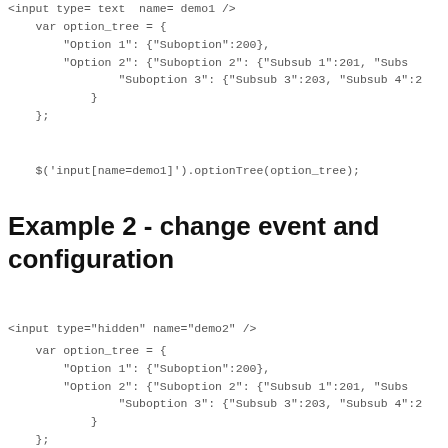<input type= text  name= demo1 />
var option_tree = {
        "Option 1": {"Suboption":200},
        "Option 2": {"Suboption 2": {"Subsub 1":201, "Subs
                "Suboption 3": {"Subsub 3":203, "Subsub 4":2
            }
    };
$('input[name=demo1]').optionTree(option_tree);
Example 2 - change event and configuration
<input type="hidden" name="demo2" />
var option_tree = {
        "Option 1": {"Suboption":200},
        "Option 2": {"Suboption 2": {"Subsub 1":201, "Subs
                "Suboption 3": {"Subsub 3":203, "Subsub 4":2
            }
    };